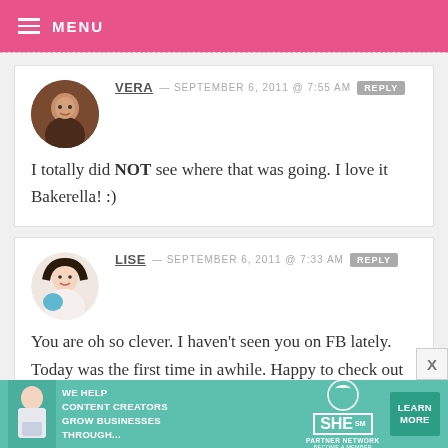MENU
VERA — SEPTEMBER 6, 2011 @ 7:55 AM  REPLY
I totally did NOT see where that was going. I love it Bakerella! :)
LISE — SEPTEMBER 6, 2011 @ 7:33 AM  REPLY
You are oh so clever. I haven't seen you on FB lately. Today was the first time in awhile. Happy to check out
[Figure (infographic): SHE Partner Network advertisement banner: We help content creators grow businesses through...]